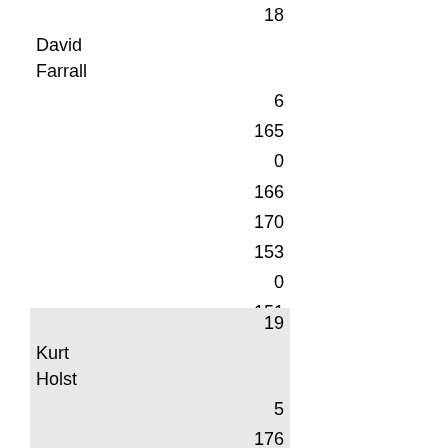|  | 18 |
| David Farrall |  |
|  | 6 |
|  | 165 |
|  | 0 |
|  | 166 |
|  | 170 |
|  | 153 |
|  | 0 |
|  | 151 |
|  | 144 |
|  | 0 |
|  | 949 |
|  | 19 |
| Kurt Holst |  |
|  | 5 |
|  | 176 |
|  | 0 |
|  | 0 |
|  | 184 |
|  | 178 |